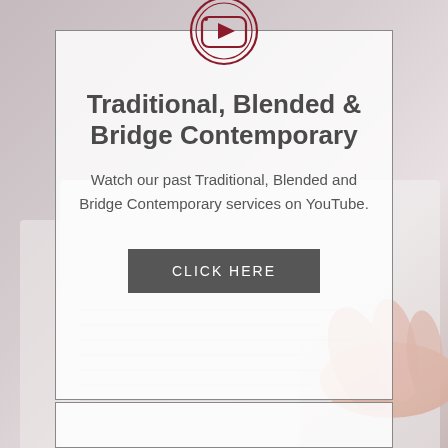[Figure (illustration): Background photo of hands writing or touching pages of an open book, blurred, muted pinkish-grey tones]
[Figure (logo): Dark red/maroon circle with a YouTube-style play button icon inside (rounded square with triangle), double circle outline]
Traditional, Blended & Bridge Contemporary
Watch our past Traditional, Blended and Bridge Contemporary services on YouTube.
CLICK HERE